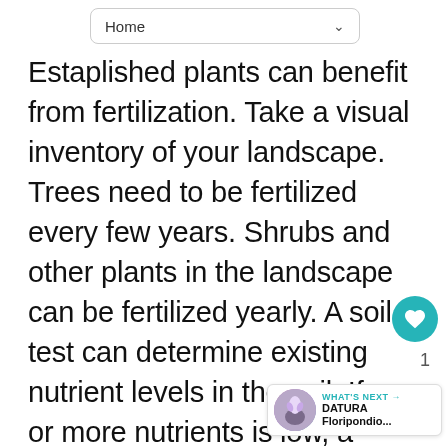Home
Established plants can benefit from fertilization. Take a visual inventory of your landscape. Trees need to be fertilized every few years. Shrubs and other plants in the landscape can be fertilized yearly. A soil test can determine existing nutrient levels in the soil. If one or more nutrients is low, a specific instead of an all-purpose fertilizer may be required. Fertilizers that are high in N, nitrogen, will promote green leafy growth. Excess nitrogen in the soil can cause excessive vegetative growth on plants at the expense of flower bud development. It is best to avoid fertilizing late in the growing season. Applications made at that time can